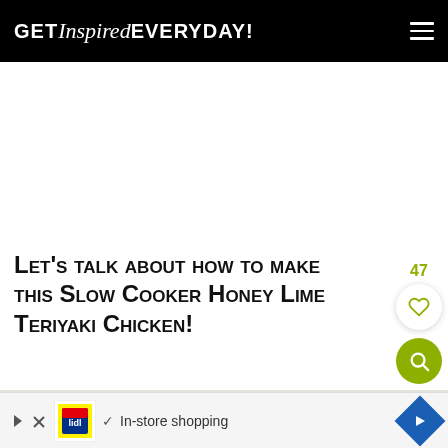GET Inspired EVERYDAY!
Let's talk about how to make this Slow Cooker Honey Lime Teriyaki Chicken!
[Figure (photo): Partial view of a slow cooker with chicken and kitchen items]
47
[Figure (infographic): Advertisement bar: Lidl logo, checkmark, In-store shopping text, blue navigation diamond icon]